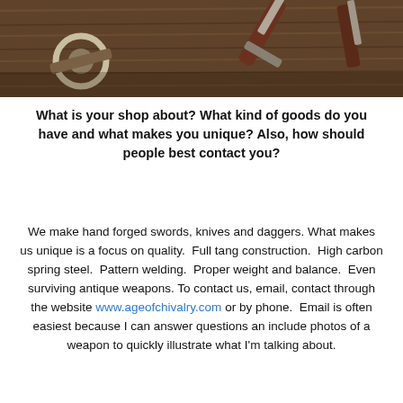[Figure (photo): Partial view of medieval/historical weapon tools (a ring-pommel dagger or similar) lying on a wooden surface, photographed from above. Only the upper portion of the photo is visible.]
What is your shop about? What kind of goods do you have and what makes you unique? Also, how should people best contact you?
We make hand forged swords, knives and daggers. What makes us unique is a focus on quality.  Full tang construction.  High carbon spring steel.  Pattern welding.  Proper weight and balance.  Even surviving antique weapons. To contact us, email, contact through the website www.ageofchivalry.com or by phone.  Email is often easiest because I can answer questions an include photos of a weapon to quickly illustrate what I'm talking about.